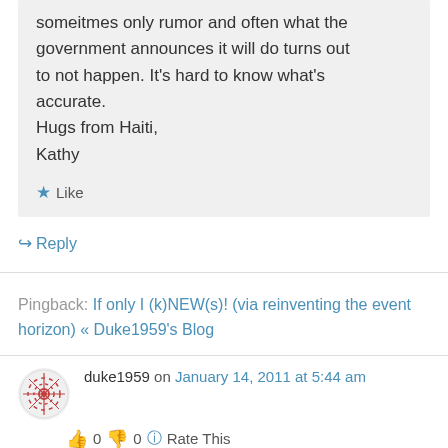someitmes only rumor and often what the government announces it will do turns out to not happen. It's hard to know what's accurate.
Hugs from Haiti,
Kathy
★ Like
↳ Reply
Pingback: If only I (k)NEW(s)! (via reinventing the event horizon) « Duke1959's Blog
duke1959 on January 14, 2011 at 5:44 am
👍 0 👎 0 ℹ Rate This